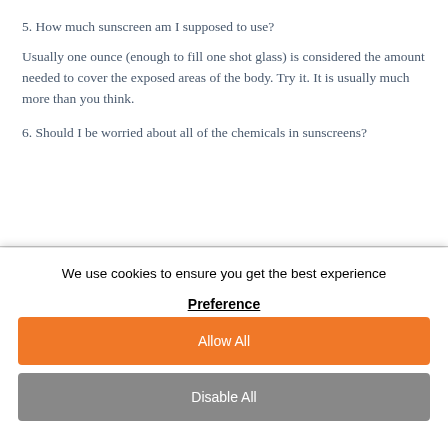5. How much sunscreen am I supposed to use?
Usually one ounce (enough to fill one shot glass) is considered the amount needed to cover the exposed areas of the body. Try it. It is usually much more than you think.
6. Should I be worried about all of the chemicals in sunscreens?
We use cookies to ensure you get the best experience
Preference
Allow All
Disable All